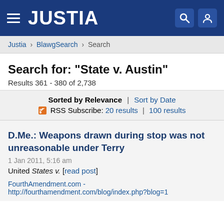JUSTIA
Justia › BlawgSearch › Search
Search for: "State v. Austin"
Results 361 - 380 of 2,738
Sorted by Relevance | Sort by Date
RSS Subscribe: 20 results | 100 results
D.Me.: Weapons drawn during stop was not unreasonable under Terry
1 Jan 2011, 5:16 am
United States v. [read post]
FourthAmendment.com -
http://fourthamendment.com/blog/index.php?blog=1